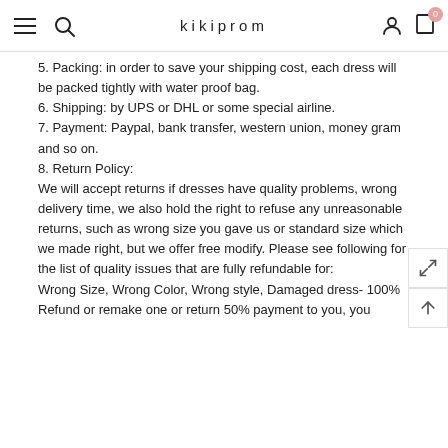kikiprom
5. Packing: in order to save your shipping cost, each dress will be packed tightly with water proof bag.
6. Shipping: by UPS or DHL or some special airline.
7. Payment: Paypal, bank transfer, western union, money gram and so on.
8. Return Policy:
We will accept returns if dresses have quality problems, wrong delivery time, we also hold the right to refuse any unreasonable returns, such as wrong size you gave us or standard size which we made right, but we offer free modify. Please see following for the list of quality issues that are fully refundable for:
Wrong Size, Wrong Color, Wrong style, Damaged dress- 100% Refund or remake one or return 50% payment to you, you